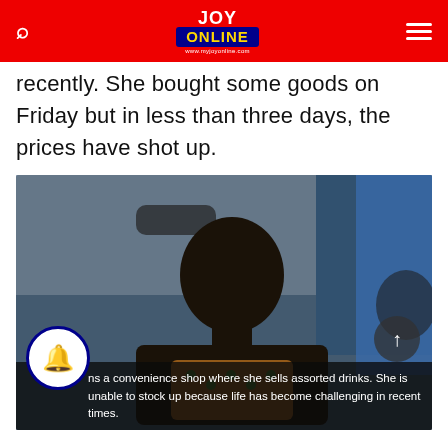JOY Online
recently. She bought some goods on Friday but in less than three days, the prices have shot up.
[Figure (photo): Woman sitting inside a vehicle, wearing a yellow and green patterned dress, looking at the camera. She appears to be inside a blue vehicle/tro-tro.]
runs a convenience shop where she sells assorted drinks. She is unable to stock up because life has become challenging in recent times.